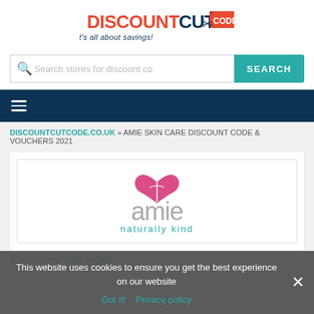[Figure (logo): DiscountCutCode logo with text 'It's all about savings!']
[Figure (screenshot): Search bar with placeholder 'Search stores for discount co' and teal SEARCH button]
[Figure (screenshot): Dark navy navigation bar with hamburger menu icon]
DISCOUNTCUTCODE.CO.UK » AMIE SKIN CARE DISCOUNT CODE & VOUCHERS 2021
[Figure (logo): Amie skin care brand logo with pink heart/leaf icon and text 'amie naturally kind']
This website uses cookies to ensure you get the best experience on our website
Got it!  Privacy policy
♡ FAVORITE THIS STORE